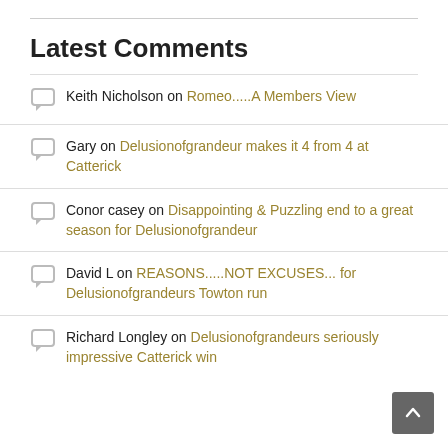Latest Comments
Keith Nicholson on Romeo.....A Members View
Gary on Delusionofgrandeur makes it 4 from 4 at Catterick
Conor casey on Disappointing & Puzzling end to a great season for Delusionofgrandeur
David L on REASONS.....NOT EXCUSES... for Delusionofgrandeurs Towton run
Richard Longley on Delusionofgrandeurs seriously impressive Catterick win